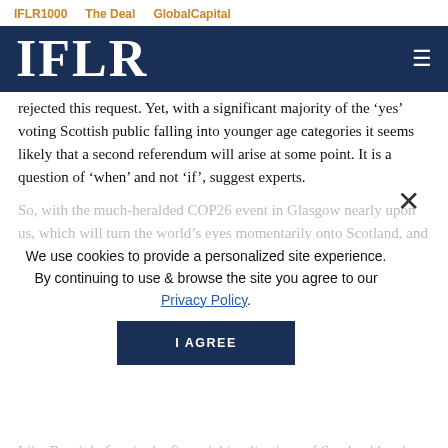IFLR1000   The Deal   GlobalCapital
IFLR
rejected this request. Yet, with a significant majority of the ‘yes’ voting Scottish public falling into younger age categories it seems likely that a second referendum will arise at some point. It is a question of ‘when’ and not ‘if’, suggest experts.
So, with the much-heralded COP26 event in Glasgow nearly upon us, which will turn the world’s eyes momentarily onto Scotland, and with the Holyrood government having decided to focus on the implications of Scottish independence for the financial markets, of course with a legal and regulatory n… at IFLR.
We use cookies to provide a personalized site experience. By continuing to use & browse the site you agree to our Privacy Policy.
I AGREE
Like Brexit before it, the financial implications of Scotland leaving the UK would be huge and would likely take years